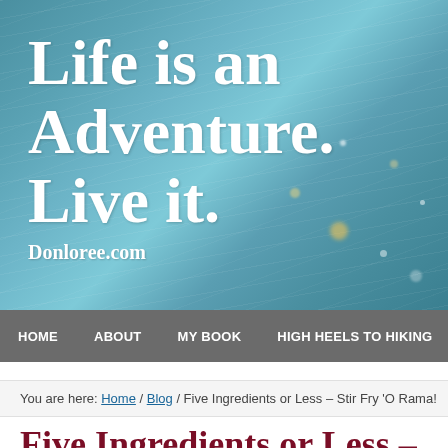[Figure (illustration): Website hero banner with rainy/wet glass background texture in teal-blue tones, displaying bold white serif text 'Life is an Adventure. Live it.' and subtitle 'Donloree.com']
HOME   ABOUT   MY BOOK   HIGH HEELS TO HIKING   CO…
You are here: Home / Blog / Five Ingredients or Less – Stir Fry 'O Rama!
Five Ingredients or Less – Stir Fry 'O Rama!